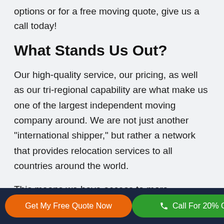options or for a free moving quote, give us a call today!
What Stands Us Out?
Our high-quality service, our pricing, as well as our tri-regional capability are what make us one of the largest independent moving company around. We are not just another "international shipper," but rather a network that provides relocation services to all countries around the world.
This means we have access to more experienced
Get My Free Quote Now
Call For 20% Off